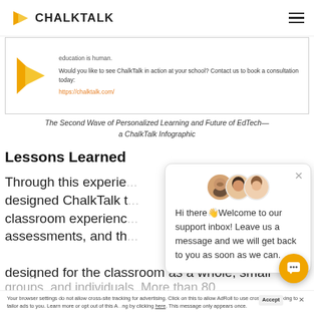CHALKTALK
[Figure (screenshot): ChalkTalk infographic box showing logo and contact info with link https://chalktalk.com/]
The Second Wave of Personalized Learning and Future of EdTech—a ChalkTalk Infographic
Lessons Learned
Through this experience, we designed ChalkTalk to improve classroom experience, assessments, and the... designed for the classroom as a whole, small groups, and individuals. More than 80... ChalkTalk end up...
[Figure (screenshot): Chat support popup with avatars and message: Hi there Welcome to our support inbox! Leave us a message and we will get back to you as soon as we can.]
Your browser settings do not allow cross-site tracking for advertising. Click on this to allow AdRoll to use cross-site tracking to tailor ads to you. Learn more or opt out of this AdRoll tracking by clicking here. This message only appears once.